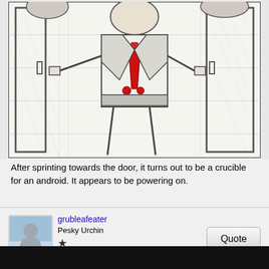[Figure (illustration): Hand-drawn pencil sketch on lined paper showing an android/robot figure wearing a suit with a red tie, standing in front of a door. The figure has a humanoid body with mechanical features. The drawing is done in pencil with cross-hatching shading, and the red tie is the only color element.]
After sprinting towards the door, it turns out to be a crucible for an android. It appears to be powering on.
grubleafeater
Pesky Urchin
★
May 4, 2016 at 7:56pm